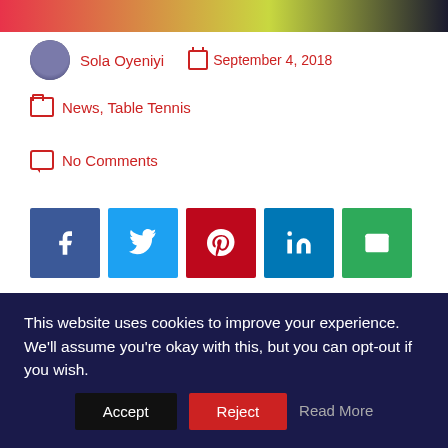[Figure (photo): Top portion of a sports image showing athletes in red and green/yellow uniforms]
Sola Oyeniyi   September 4, 2018
News, Table Tennis
No Comments
[Figure (infographic): Social sharing buttons: Facebook, Twitter, Pinterest, LinkedIn, Email]
The male and female teams of Nigeria and Egypt will face off in the team event at the ongoing ITTF Africa Championships in Mauritius following Tuesday's round of matches.
This website uses cookies to improve your experience. We'll assume you're okay with this, but you can opt-out if you wish. Accept  Reject  Read More